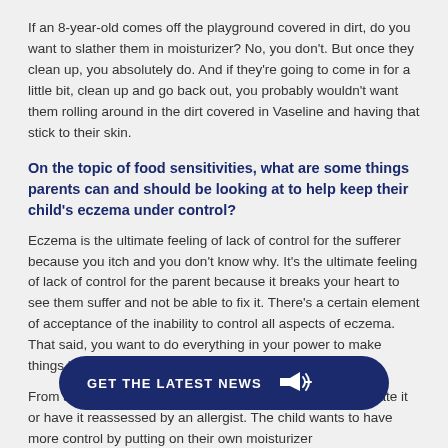If an 8-year-old comes off the playground covered in dirt, do you want to slather them in moisturizer? No, you don't. But once they clean up, you absolutely do. And if they're going to come in for a little bit, clean up and go back out, you probably wouldn't want them rolling around in the dirt covered in Vaseline and having that stick to their skin.
On the topic of food sensitivities, what are some things parents can and should be looking at to help keep their child's eczema under control?
Eczema is the ultimate feeling of lack of control for the sufferer because you itch and you don't know why. It's the ultimate feeling of lack of control for the parent because it breaks your heart to see them suffer and not be able to fix it. There's a certain element of acceptance of the inability to control all aspects of eczema. That said, you want to do everything in your power to make things better.
From a food standpoint, if you identify a food trigger, eliminate it or have it reassessed by an allergist. The child wants to have more control by putting on their own moisturizer
[Figure (other): Dark navy blue pill-shaped button with text 'GET THE LATEST NEWS' and a megaphone icon on the right]